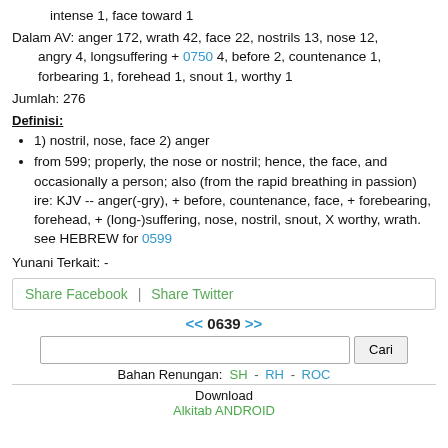intense 1, face toward 1
Dalam AV: anger 172, wrath 42, face 22, nostrils 13, nose 12, angry 4, longsuffering + 0750 4, before 2, countenance 1, forbearing 1, forehead 1, snout 1, worthy 1
Jumlah: 276
Definisi:
1) nostril, nose, face 2) anger
from 599; properly, the nose or nostril; hence, the face, and occasionally a person; also (from the rapid breathing in passion) ire: KJV -- anger(-gry), + before, countenance, face, + forebearing, forehead, + (long-)suffering, nose, nostril, snout, X worthy, wrath.
see HEBREW for 0599
Yunani Terkait: -
Share Facebook  |  Share Twitter
<< 0639 >>
Bahan Renungan: SH - RH - ROC
Download
Alkitab ANDROID